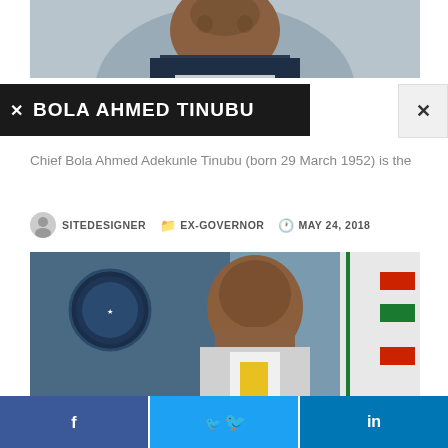[Figure (photo): Cropped photo of Bola Ahmed Tinubu from shoulders up, wearing a dark pinstripe suit, against a grey background.]
BOLA AHMED TINUBU
Chief Bola Ahmed Adekunle Tinubu (born 29 March 1952) is the
SITEDESIGNER   EX-GOVERNOR   MAY 24, 2018
[Figure (photo): Photo of a Nigerian government official seated in an executive chair with the Rivers State Government seal visible in the background, wearing a grey suit and yellow tie, with Nigerian flag to the right.]
f  t  in